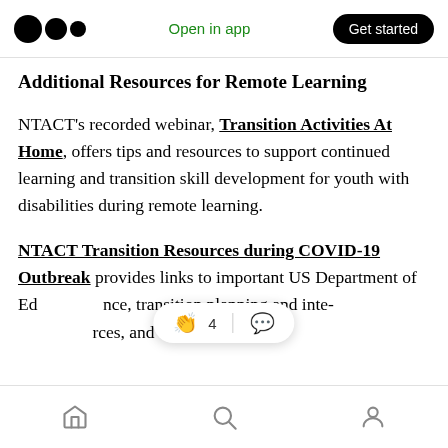Open in app | Get started
Additional Resources for Remote Learning
NTACT's recorded webinar, Transition Activities At Home, offers tips and resources to support continued learning and transition skill development for youth with disabilities during remote learning.
NTACT Transition Resources during COVID-19 Outbreak provides links to important US Department of Education guidance, transition planning and internet resources, and online
Home | Search | Profile